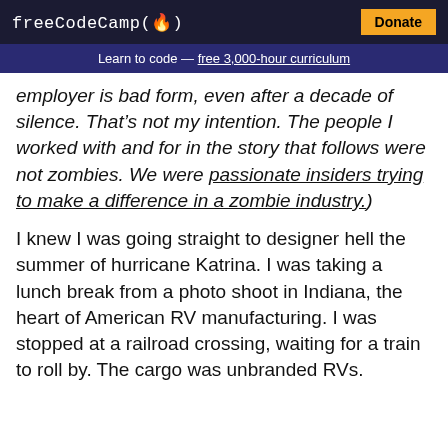freeCodeCamp(🔥)  Donate
Learn to code — free 3,000-hour curriculum
employer is bad form, even after a decade of silence. That's not my intention. The people I worked with and for in the story that follows were not zombies. We were passionate insiders trying to make a difference in a zombie industry.)
I knew I was going straight to designer hell the summer of hurricane Katrina. I was taking a lunch break from a photo shoot in Indiana, the heart of American RV manufacturing. I was stopped at a railroad crossing, waiting for a train to roll by. The cargo was unbranded RVs.